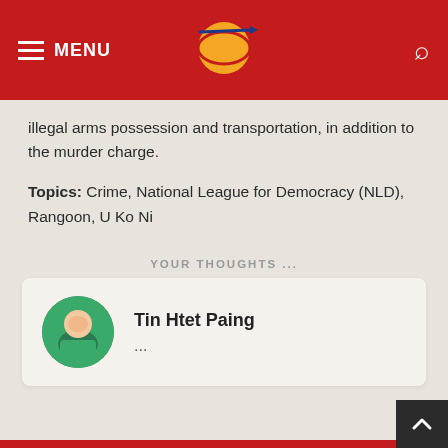MENU [logo] [search]
illegal arms possession and transportation, in addition to the murder charge.
Topics: Crime, National League for Democracy (NLD), Rangoon, U Ko Ni
YOUR THOUGHTS ...
[Figure (infographic): Four reaction buttons: thumbs up (blue), heart (red/pink), surprised face (yellow), crying face (yellow)]
Tin Htet Paing
...